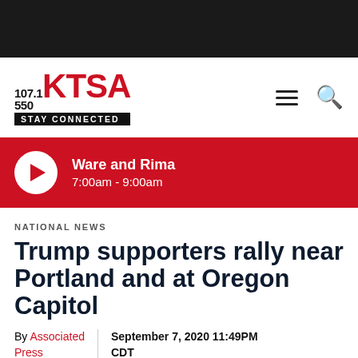107.1 550 KTSA STAY CONNECTED
[Figure (infographic): Red banner with white play button circle and show info: Ware and Rima, 7:00am - 9:00am]
NATIONAL NEWS
Trump supporters rally near Portland and at Oregon Capitol
By Associated Press | September 7, 2020 11:49PM CDT